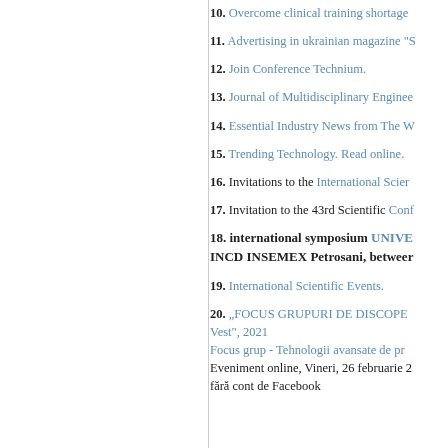10. Overcome clinical training shortage...
11. Advertising in ukrainian magazine "S...
12. Join Conference Technium.
13. Journal of Multidisciplinary Enginee...
14. Essential Industry News from The W...
15. Trending Technology. Read online.
16. Invitations to the International Scien...
17. Invitation to the 43rd Scientific Conf...
18. international symposium UNIVE... INCD INSEMEX Petrosani, between...
19. International Scientific Events.
20. „FOCUS GRUPURI DE DESCOPE... Vest", 2021
Focus grup - Tehnologii avansate de pr...
Eveniment online, Vineri, 26 februarie 2...
fără cont de Facebook...